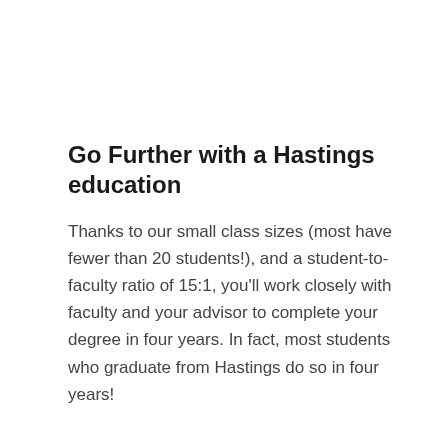Go Further with a Hastings education
Thanks to our small class sizes (most have fewer than 20 students!), and a student-to-faculty ratio of 15:1, you'll work closely with faculty and your advisor to complete your degree in four years. In fact, most students who graduate from Hastings do so in four years!